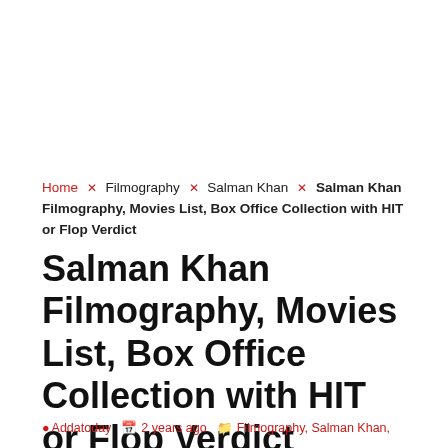Home × Filmography × Salman Khan × Salman Khan Filmography, Movies List, Box Office Collection with HIT or Flop Verdict
Salman Khan Filmography, Movies List, Box Office Collection with HIT or Flop Verdict
Addatoday  2 years ago  Filmography, Salman Khan,